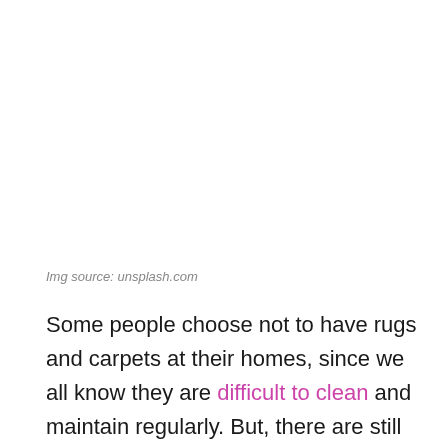Img source: unsplash.com
Some people choose not to have rugs and carpets at their homes, since we all know they are difficult to clean and maintain regularly. But, there are still those who enjoy the cloudy feeling the rugs provide as we walk through the rooms, and of course, some people are really enthusiastic about having a piece of art, as are the Persian rugs and other